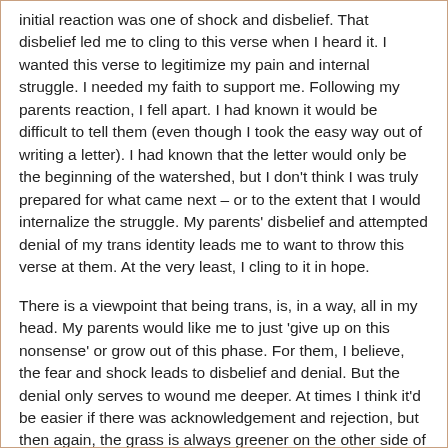initial reaction was one of shock and disbelief. That disbelief led me to cling to this verse when I heard it. I wanted this verse to legitimize my pain and internal struggle. I needed my faith to support me. Following my parents reaction, I fell apart. I had known it would be difficult to tell them (even though I took the easy way out of writing a letter). I had known that the letter would only be the beginning of the watershed, but I don't think I was truly prepared for what came next – or to the extent that I would internalize the struggle. My parents' disbelief and attempted denial of my trans identity leads me to want to throw this verse at them. At the very least, I cling to it in hope.
There is a viewpoint that being trans, is, in a way, all in my head. My parents would like me to just 'give up on this nonsense' or grow out of this phase. For them, I believe, the fear and shock leads to disbelief and denial. But the denial only serves to wound me deeper. At times I think it'd be easier if there was acknowledgement and rejection, but then again, the grass is always greener on the other side of the fence. Truth be told, it'd be an incredibly difficult journey regardless of my parent's reactions – mostly because I have often considered myself to have strong empathic tendencies